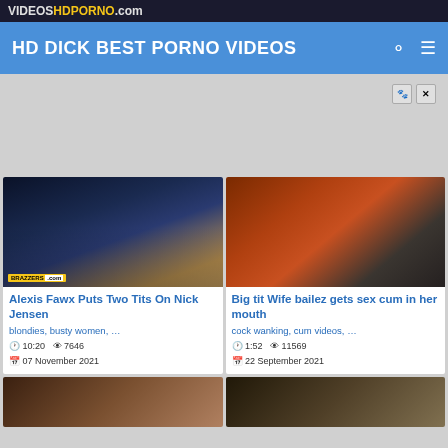VIDEOSHDPORNO.com
HD DICK BEST PORNO VIDEOS
[Figure (screenshot): Video thumbnail: Alexis Fawx Puts Two Tits On Nick Jensen - two women in office attire with city skyline background, Brazzers watermark]
Alexis Fawx Puts Two Tits On Nick Jensen
blondies, busty women, …
🕐 10:20  👁 7646
📅 07 November 2021
[Figure (screenshot): Video thumbnail: Big tit Wife bailez gets sex cum in her mouth - close up adult content]
Big tit Wife bailez gets sex cum in her mouth
cock wanking, cum videos, …
🕐 1:52  👁 11569
📅 22 September 2021
[Figure (screenshot): Video thumbnail bottom left]
[Figure (screenshot): Video thumbnail bottom right]